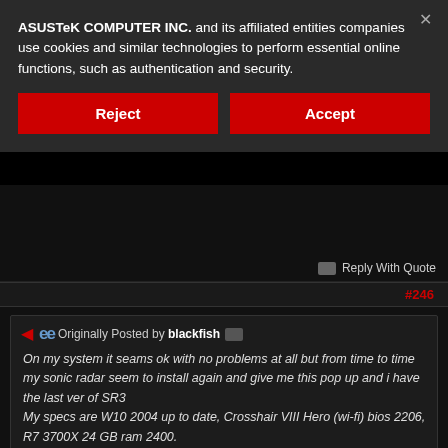ASUSTeK COMPUTER INC. and its affiliated entities companies use cookies and similar technologies to perform essential online functions, such as authentication and security.
Reject
Accept
Reply With Quote
#246
Originally Posted by blackfish
On my system it seams ok with no problems at all but from time to time my sonic radar seem to install again and give me this pop up and i have the last ver of SR3
My specs are W10 2004 up to date, Crosshair VIII Hero (wi-fi) bios 2206, R7 3700X 24 GB ram 2400.
Anyone with this issue too??
Originally Posted by MoKiChU